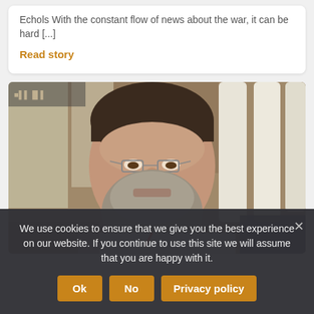Echols With the constant flow of news about the war, it can be hard [...]
Read story
[Figure (photo): Man with beard and glasses sitting in a restaurant or cafe setting, with large white vases visible in the background]
We use cookies to ensure that we give you the best experience on our website. If you continue to use this site we will assume that you are happy with it.
Ok  No  Privacy policy